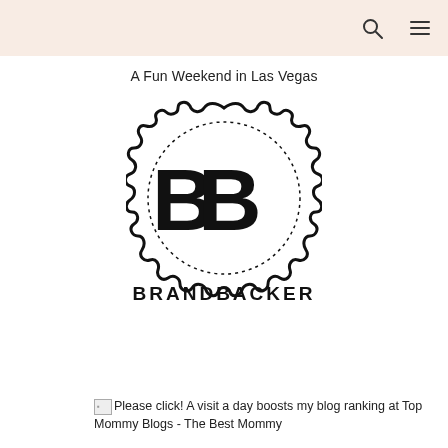A Fun Weekend in Las Vegas
[Figure (logo): BrandBacker logo: two bold B letters inside a circular dotted badge border with scalloped outer edge, with BRANDBACKER text below in wide spaced capitals]
Please click! A visit a day boosts my blog ranking at Top Mommy Blogs - The Best Mommy